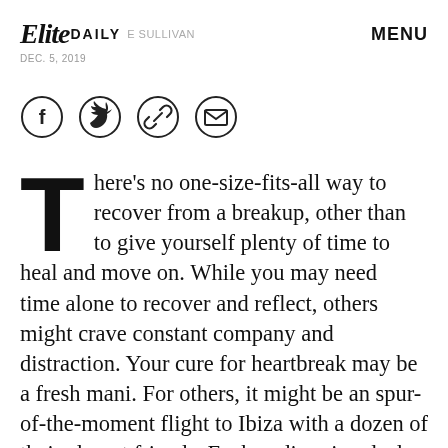Elite Daily BY E SULLIVAN DEC. 5, 2019 MENU
[Figure (infographic): Four circular social sharing icons: Facebook (f), Twitter (bird), Link (chain), Email (envelope)]
There's no one-size-fits-all way to recover from a breakup, other than to give yourself plenty of time to heal and move on. While you may need time alone to recover and reflect, others might crave constant company and distraction. Your cure for heartbreak may be a fresh mani. For others, it might be an spur-of-the-moment flight to Ibiza with a dozen of their closest friends. Each zodiac sign deals with breakups differently, so after you split from your significant other, turn inward to really consider what